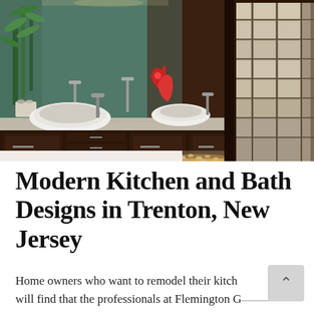[Figure (photo): A modern bathroom with dark wood double vanity with gray granite countertop, two white vessel sinks, metallic faucets, a red decorative sculpture, green bamboo plant, large mirror, and Japanese-style shoji screen panels on the right side. Under-cabinet lighting illuminates pebble flooring.]
Modern Kitchen and Bath Designs in Trenton, New Jersey
Home owners who want to remodel their kitch... will find that the professionals at Flemington Gr...